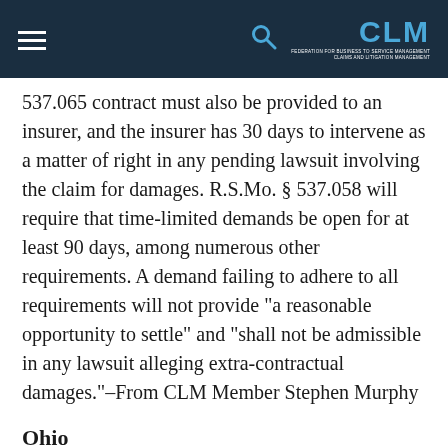CLM
537.065 contract must also be provided to an insurer, and the insurer has 30 days to intervene as a matter of right in any pending lawsuit involving the claim for damages. R.S.Mo. § 537.058 will require that time-limited demands be open for at least 90 days, among numerous other requirements. A demand failing to adhere to all requirements will not provide “a reasonable opportunity to settle” and “shall not be admissible in any lawsuit alleging extra-contractual damages.”–From CLM Member Stephen Murphy
Ohio